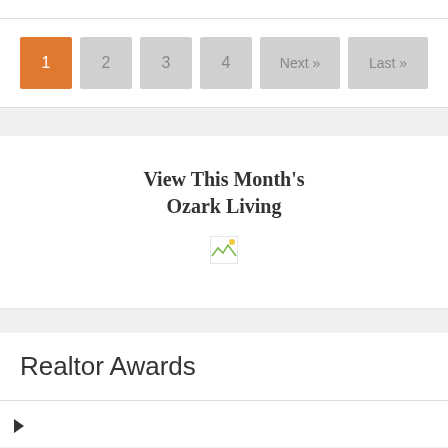[Figure (other): Pagination navigation bar with buttons: 1 (active, orange), 2, 3, 4, Next », Last »]
View This Month's
Ozark Living
[Figure (other): Broken image placeholder icon]
Realtor Awards
▶